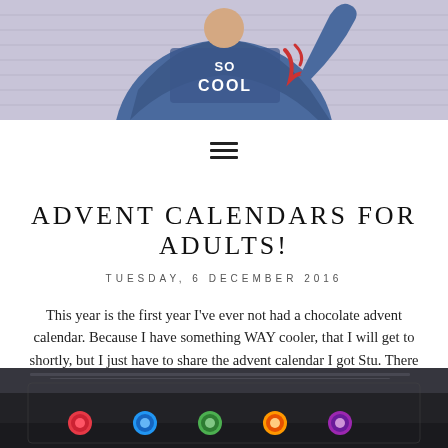[Figure (photo): Person wearing a denim jacket with 'SO COOL' text, photographed from mid-torso up against a light purple background]
[Figure (other): Hamburger/menu icon (three horizontal lines)]
ADVENT CALENDARS FOR ADULTS!
TUESDAY, 6 DECEMBER 2016
This year is the first year I've ever not had a chocolate advent calendar. Because I have something WAY cooler, that I will get to shortly, but I just have to share the advent calendar I got Stu. There are so many neat concepts for advent calendars for grown ups now!
[Figure (photo): Bottom portion of a dark/silver metallic advent calendar product with colorful circles/dots visible]